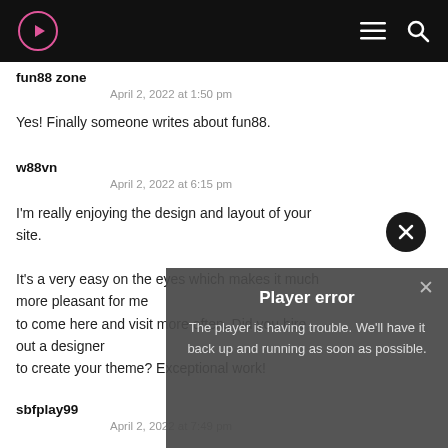Navigation bar with logo, menu, and search icons
fun88 zone
April 2, 2022 at 1:50 pm
Yes! Finally someone writes about fun88.
w88vn
April 2, 2022 at 6:15 pm
I'm really enjoying the design and layout of your site.

It's a very easy on the eyes which makes it much more pleasant for me to come here and visit more often. Did you hire out a designer to create your theme? Exceptional work!
sbfplay99
April 2, 2022 at 7:49 pm
Player error
The player is having trouble. We'll have it back up and running as soon as possible.